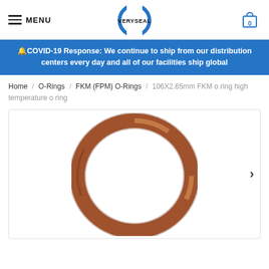MENU | VERYSEAL | 0
🔔COVID-19 Response: We continue to ship from our distribution centers every day and all of our facilities ship global
Home / O-Rings / FKM (FPM) O-Rings / 106X2.65mm FKM o ring high temperature o ring
[Figure (photo): A brown FKM (Viton) O-ring with circular shape, photographed on a white background. The O-ring appears to be medium-large sized with a round cross-section, showing the characteristic brown color of FKM material.]